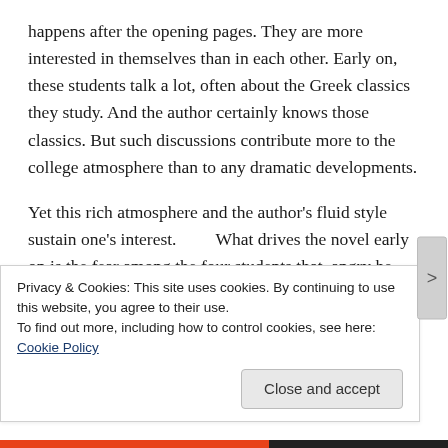happens after the opening pages. They are more interested in themselves than in each other. Early on, these students talk a lot, often about the Greek classics they study. And the author certainly knows those classics. But such discussions contribute more to the college atmosphere than to any dramatic developments.
Yet this rich atmosphere and the author's fluid style sustain one's interest.       What drives the novel early on is the fear among the four students that, angry he was not included in the ritual that resulted in the farmers death, a blackmailing Bunny will betray them. And half-way into this novel, after discussing what to do about Bunny, they
Privacy & Cookies: This site uses cookies. By continuing to use this website, you agree to their use.
To find out more, including how to control cookies, see here: Cookie Policy
Close and accept